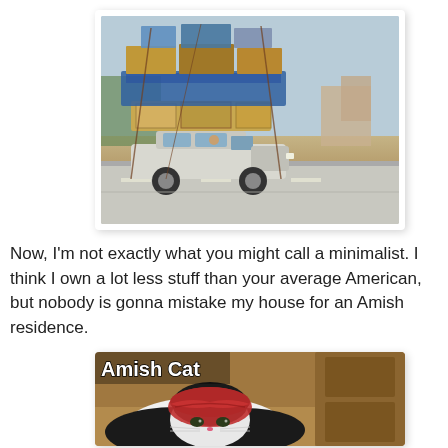[Figure (photo): A car on a road severely overloaded with boxes, furniture, and goods stacked extremely high on its roof, tilting backward, in what appears to be Southeast Asia. Photo has a white border/shadow frame.]
Now, I'm not exactly what you might call a minimalist. I think I own a lot less stuff than your average American, but nobody is gonna mistake my house for an Amish residence.
[Figure (photo): Meme image showing a black and white cat with a red cloth/bandana on its head, labeled 'Amish Cat' in bold white text with black outline in the upper left corner.]